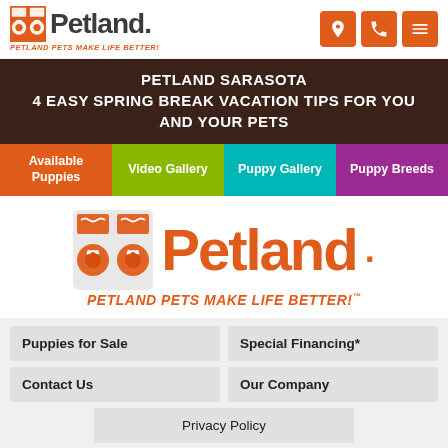[Figure (logo): Petland logo with icon square and text 'Petland' plus tagline 'Petland Pets Make Life Better!' and navigation icons (location, phone, menu) in orange squares]
PETLAND SARASOTA
4 EASY SPRING BREAK VACATION TIPS FOR YOU AND YOUR PETS
Available Puppies | Video Gallery | Puppy Gallery | Puppy Breeds
[Figure (logo): Large Petland orange logo with icon and text 'Petland' and tagline 'Petland Pets Make Life Better!']
Puppies for Sale | Special Financing* | Contact Us | Our Company | Privacy Policy